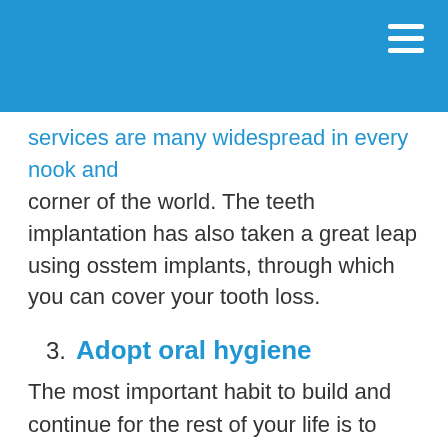[blue header bar with hamburger menu]
services are many widespread in every nook and corner of the world. The teeth implantation has also taken a great leap using osstem implants, through which you can cover your tooth loss.
3. Adopt oral hygiene
The most important habit to build and continue for the rest of your life is to take great care of your teeth. Your dentures may not be perfect or in good condition, it is important to maintain proper oral hygiene in your life. Many senior dentistry consultants emphasize maintaining proper oral hygiene, to avoid having a bad breath. Poor oral hygiene leads to bacteria build up around your